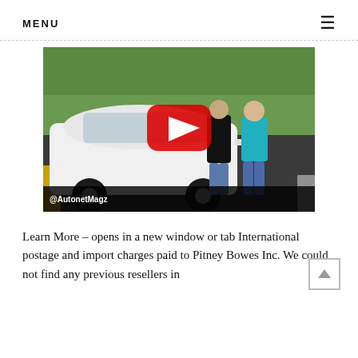MENU
[Figure (photo): YouTube-style video thumbnail showing two people standing next to a white MPV/car on a road, with a red YouTube play button overlay. Watermark reads @AutonetMagz. Green trees in background.]
Learn More – opens in a new window or tab International postage and import charges paid to Pitney Bowes Inc. We could not find any previous resellers in